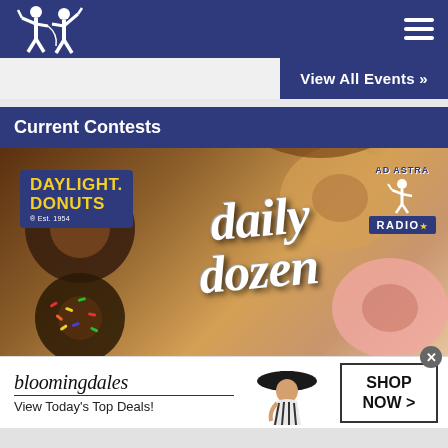Ad Astra Radio - Navigation Header with Logo and Hamburger Menu
View All Events »
Current Contests
[Figure (photo): Daylight Donuts Daily Dozen promotional banner ad with donuts background, Daylight Donuts logo on left and Ad Astra Radio logo on right, stylized cursive text reading 'daily dozen' in the center]
[Figure (photo): Bloomingdale's advertisement banner with model wearing black hat, text reading 'bloomingdales View Today's Top Deals!' on left and 'SHOP NOW >' button on right, with close X button]